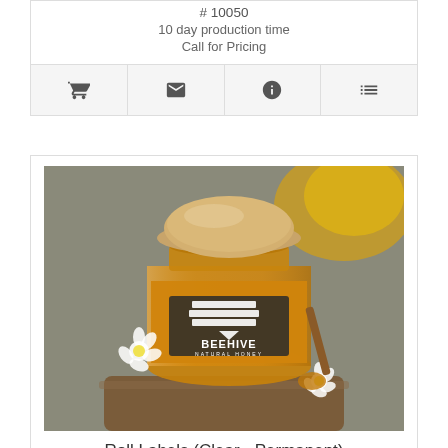# 10050
10 day production time
Call for Pricing
[Figure (other): Icon bar with shopping cart, envelope, info, and list icons]
[Figure (photo): Honey jar with wooden lid and BEEHIVE NATURAL HONEY label, surrounded by white flowers and honeycomb]
Roll Labels (Clear - Permanent)
# SY-RLCP